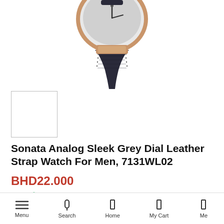[Figure (photo): Sonata analog watch with rose gold case and dark leather strap, shown from an angle with the dial visible at top]
[Figure (photo): Small thumbnail image of the watch product (white/empty square thumbnail)]
Sonata Analog Sleek Grey Dial Leather Strap Watch For Men, 7131WL02
BHD22.000
In stock
Product Details
Brand:Sonata
Model no:7131WL02
Menu  Search  Home  My Cart  Me